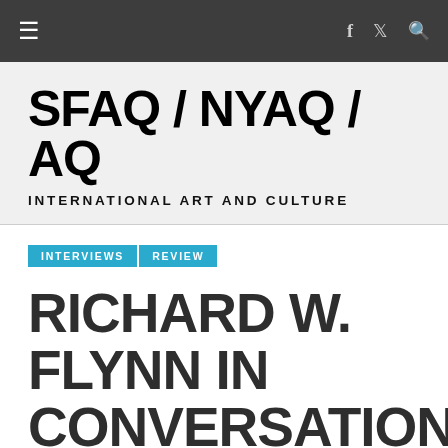≡  f  🐦  🔍
SFAQ / NYAQ / AQ
INTERNATIONAL ART AND CULTURE
INTERVIEWS  REVIEW
RICHARD W. FLYNN IN CONVERSATION WITH CERCLE DE